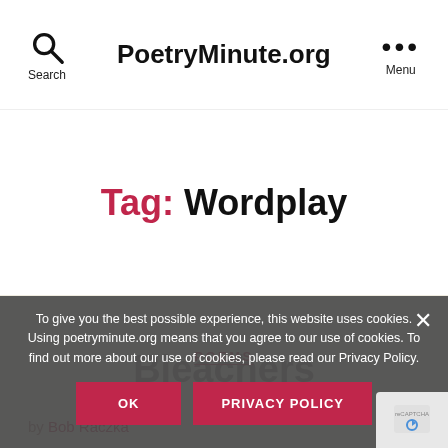Search  PoetryMinute.org  Menu
Tag: Wordplay
POEMS
Bleachers
by Bob Raczka
To give you the best possible experience, this website uses cookies. Using poetryminute.org means that you agree to our use of cookies. To find out more about our use of cookies, please read our Privacy Policy.